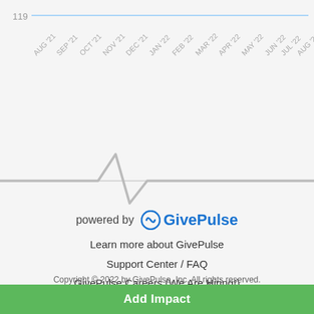[Figure (continuous-plot): Partial line chart showing time series from AUG '21 to AUG '22 with x-axis labels and a value of 119 on the y-axis. The chart is cropped at top showing only the top portion.]
[Figure (illustration): Heartbeat / EKG pulse graphic in gray, forming a heartbeat waveform symbol centered horizontally with a horizontal baseline.]
powered by  GivePulse
Learn more about GivePulse
Support Center / FAQ
GivePulse Careers (We Are Hiring!)
Privacy Policy
Terms & Conditions
Copyright © 2022 by GivePulse, Inc. All rights reserved.
Add Impact